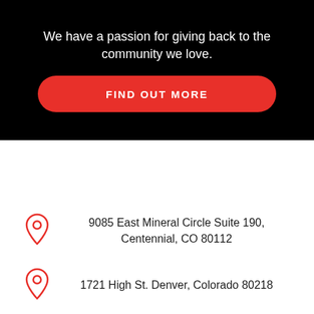We have a passion for giving back to the community we love.
[Figure (other): Red rounded rectangle button with white uppercase text reading FIND OUT MORE]
9085 East Mineral Circle Suite 190, Centennial, CO 80112
1721 High St. Denver, Colorado 80218